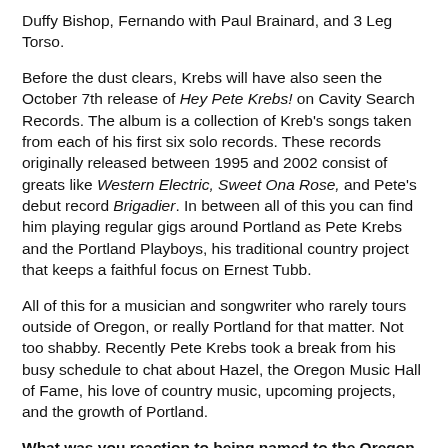Duffy Bishop, Fernando with Paul Brainard, and 3 Leg Torso.
Before the dust clears, Krebs will have also seen the October 7th release of Hey Pete Krebs! on Cavity Search Records. The album is a collection of Kreb's songs taken from each of his first six solo records. These records originally released between 1995 and 2002 consist of greats like Western Electric, Sweet Ona Rose, and Pete's debut record Brigadier. In between all of this you can find him playing regular gigs around Portland as Pete Krebs and the Portland Playboys, his traditional country project that keeps a faithful focus on Ernest Tubb.
All of this for a musician and songwriter who rarely tours outside of Oregon, or really Portland for that matter. Not too shabby. Recently Pete Krebs took a break from his busy schedule to chat about Hazel, the Oregon Music Hall of Fame, his love of country music, upcoming projects, and the growth of Portland.
What was you reaction to being named to the Oregon Music Hall of Fame for the second time, and do you have anything special planned for the induction in October?
Well, I was really flattered to be inducted this year. I'm stoked to be considered alongside guys like Brian Berg and Paul Brainard